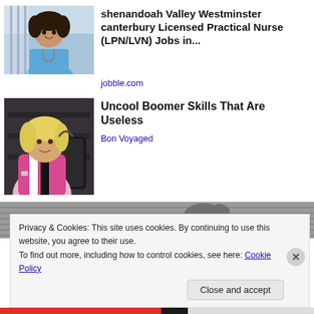[Figure (photo): Nurse in blue scrubs with stethoscope, smiling]
shenandoah Valley Westminster canterbury Licensed Practical Nurse (LPN/LVN) Jobs in...
jobble.com
[Figure (photo): Blonde woman with luggage/bags, smiling]
Uncool Boomer Skills That Are Useless
Bon Voyaged
[Figure (photo): Grayscale image background strip with animal/dog visible]
Privacy & Cookies: This site uses cookies. By continuing to use this website, you agree to their use.
To find out more, including how to control cookies, see here: Cookie Policy
Close and accept